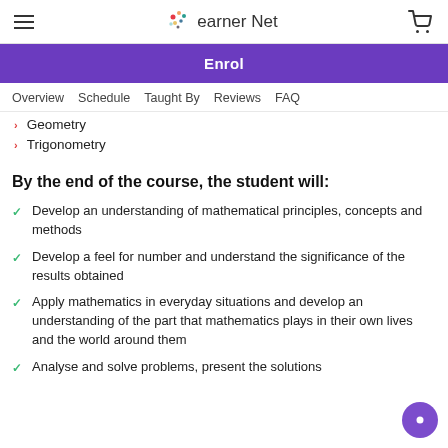Learner Net
Enrol
Overview  Schedule  Taught By  Reviews  FAQ
Geometry
Trigonometry
By the end of the course, the student will:
Develop an understanding of mathematical principles, concepts and methods
Develop a feel for number and understand the significance of the results obtained
Apply mathematics in everyday situations and develop an understanding of the part that mathematics plays in their own lives and the world around them
Analyse and solve problems, present the solutions